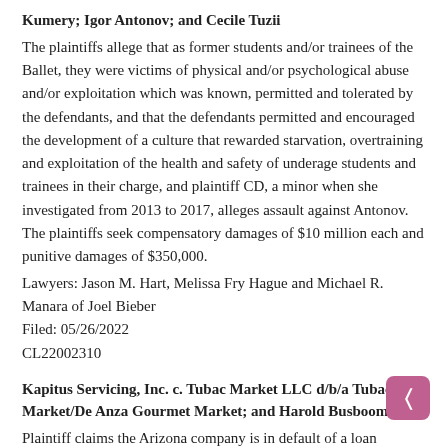Kumery; Igor Antonov; and Cecile Tuzii
The plaintiffs allege that as former students and/or trainees of the Ballet, they were victims of physical and/or psychological abuse and/or exploitation which was known, permitted and tolerated by the defendants, and that the defendants permitted and encouraged the development of a culture that rewarded starvation, overtraining and exploitation of the health and safety of underage students and trainees in their charge, and plaintiff CD, a minor when she investigated from 2013 to 2017, alleges assault against Antonov. The plaintiffs seek compensatory damages of $10 million each and punitive damages of $350,000.
Lawyers: Jason M. Hart, Melissa Fry Hague and Michael R. Manara of Joel Bieber
Filed: 05/26/2022
CL22002310
Kapitus Servicing, Inc. c. Tubac Market LLC d/b/a Tubac Market/De Anza Gourmet Market; and Harold Busboom
Plaintiff claims the Arizona company is in default of a loan agreement and seeks judgment in principal amount of $86,222.25.
Lawyers: Nhon H. Nguyen and Charles D. Waters of Nguyen | Ballato